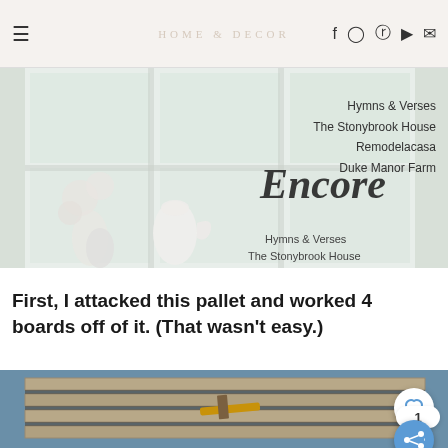HOME & DECOR
[Figure (photo): Blog post banner image showing a bright window with white flowers and teapot, with cursive text 'Encore' and listed blog names: Hymns & Verses, The Stonybrook House, Remodelacasa, Duke Manor Farm]
First, I attacked this pallet and worked 4 boards off of it.  (That wasn't easy.)
[Figure (photo): Overhead photo of a wooden pallet on a blue floor surface, with a hammer tool resting on it, showing pallet boards/slats]